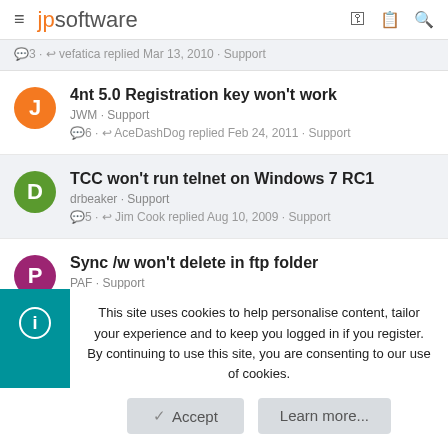jpsoftware
☐3 · ↩ vefatica replied Mar 13, 2010 · Support
4nt 5.0 Registration key won't work
JWM · Support
☐6 · ↩ AceDashDog replied Feb 24, 2011 · Support
TCC won't run telnet on Windows 7 RC1
drbeaker · Support
☐5 · ↩ Jim Cook replied Aug 10, 2009 · Support
Sync /w won't delete in ftp folder
PAF · Support
This site uses cookies to help personalise content, tailor your experience and to keep you logged in if you register. By continuing to use this site, you are consenting to our use of cookies.